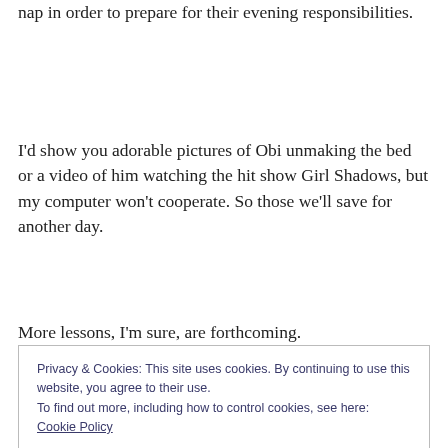nap in order to prepare for their evening responsibilities.
I'd show you adorable pictures of Obi unmaking the bed or a video of him watching the hit show Girl Shadows, but my computer won't cooperate. So those we'll save for another day.
More lessons, I'm sure, are forthcoming.
Privacy & Cookies: This site uses cookies. By continuing to use this website, you agree to their use.
To find out more, including how to control cookies, see here: Cookie Policy
feeling super charged. He is spending most of his day on